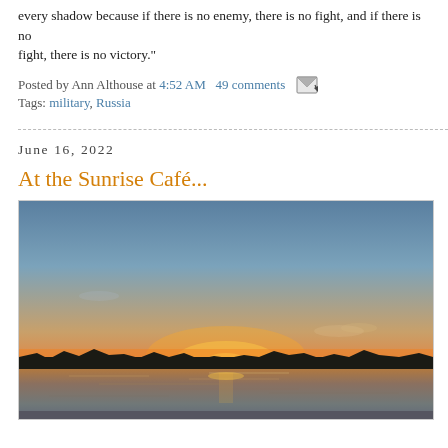every shadow because if there is no enemy, there is no fight, and if there is no fight, there is no victory."
Posted by Ann Althouse at 4:52 AM   49 comments
Tags: military, Russia
June 16, 2022
At the Sunrise Café...
[Figure (photo): Photograph of a sunset over a body of water with a dark treeline silhouette on the horizon. The sky transitions from deep blue at the top through orange and warm hues near the setting sun, which is partially below the horizon. The water reflects the warm colors.]